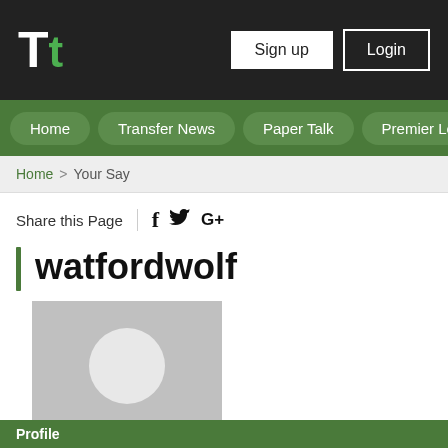Tt — Sign up | Login
Home | Transfer News | Paper Talk | Premier League
Home > Your Say
Share this Page  f  (twitter)  G+
watfordwolf
[Figure (photo): Default user avatar — grey square with white silhouette of a person (head and shoulders)]
Profile